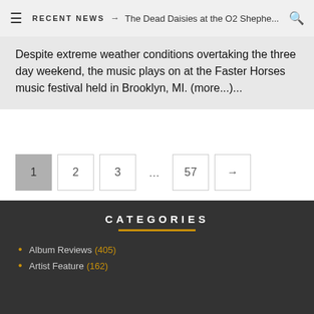≡  RECENT NEWS → The Dead Daisies at the O2 Shephe... 🔍
Despite extreme weather conditions overtaking the three day weekend, the music plays on at the Faster Horses music festival held in Brooklyn, MI. (more...)...
Pagination: 1 (active), 2, 3, ..., 57, →
CATEGORIES
Album Reviews (405)
Artist Feature (162)